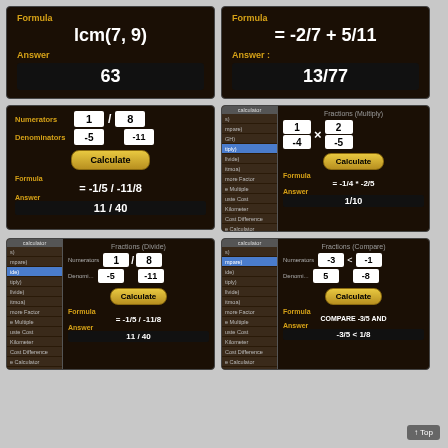[Figure (screenshot): Calculator app screen: Formula lcm(7, 9), Answer 63]
[Figure (screenshot): Calculator app screen: Formula = -2/7 + 5/11, Answer 13/77]
[Figure (screenshot): Calculator app screen with inputs Numerators 1 and 8, Denominators -5 and -11, Calculate button, Formula = -1/5 / -11/8, Answer 11 / 40]
[Figure (screenshot): Fractions Multiply app screen: inputs Numerator 1 and 2, Denominator -4 and -5, Calculate button, Formula = -1/4 * -2/5, Answer 1/10]
[Figure (screenshot): Fractions Divide app screen: Numerators 1 and 8, Denominators -5 and -11, Calculate button, Formula = -1/5 / -11/8, Answer 11 / 40]
[Figure (screenshot): Fractions Compare app screen: inputs -3 and -1 numerators, 5 and -8 denominators, Calculate button, Formula COMPARE -3/5 AND, Answer -3/5 < 1/8]